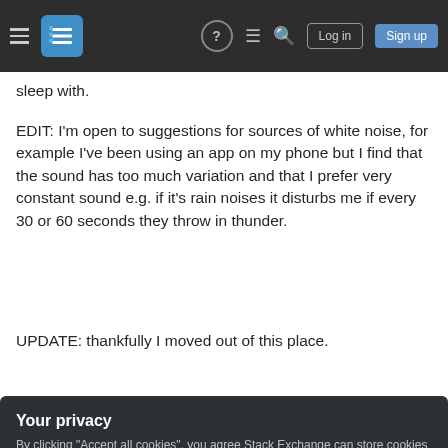Stack Exchange navigation bar with hamburger menu, logo, help, chat, search, Log in, Sign up buttons
sleep with.
EDIT: I'm open to suggestions for sources of white noise, for example I've been using an app on my phone but I find that the sound has too much variation and that I prefer very constant sound e.g. if it's rain noises it disturbs me if every 30 or 60 seconds they throw in thunder.
UPDATE: thankfully I moved out of this place.
Your privacy
By clicking "Accept all cookies", you agree Stack Exchange can store cookies on your device and disclose information in accordance with our Cookie Policy.
Accept all cookies
Customize settings
Celeritas